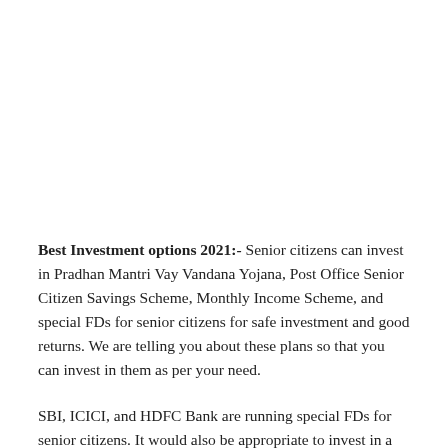Best Investment options 2021:- Senior citizens can invest in Pradhan Mantri Vay Vandana Yojana, Post Office Senior Citizen Savings Scheme, Monthly Income Scheme, and special FDs for senior citizens for safe investment and good returns. We are telling you about these plans so that you can invest in them as per your need.
SBI, ICICI, and HDFC Bank are running special FDs for senior citizens. It would also be appropriate to invest in a Post Office Senior Citizen Savings Scheme